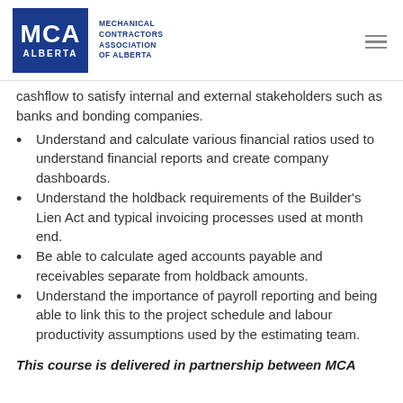[Figure (logo): MCA Alberta - Mechanical Contractors Association of Alberta logo in blue square with text]
cashflow to satisfy internal and external stakeholders such as banks and bonding companies.
Understand and calculate various financial ratios used to understand financial reports and create company dashboards.
Understand the holdback requirements of the Builder's Lien Act and typical invoicing processes used at month end.
Be able to calculate aged accounts payable and receivables separate from holdback amounts.
Understand the importance of payroll reporting and being able to link this to the project schedule and labour productivity assumptions used by the estimating team.
This course is delivered in partnership between MCA